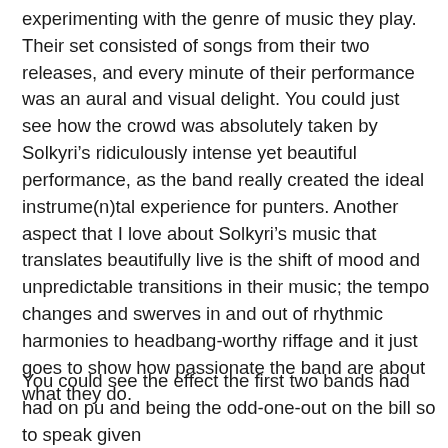experimenting with the genre of music they play. Their set consisted of songs from their two releases, and every minute of their performance was an aural and visual delight. You could just see how the crowd was absolutely taken by Solkyri’s ridiculously intense yet beautiful performance, as the band really created the ideal instrume(n)tal experience for punters. Another aspect that I love about Solkyri’s music that translates beautifully live is the shift of mood and unpredictable transitions in their music; the tempo changes and swerves in and out of rhythmic harmonies to headbang-worthy riffage and it just goes to show how passionate the band are about what they do.
You could see the effect the first two bands had had on pu and being the odd-one-out on the bill so to speak given